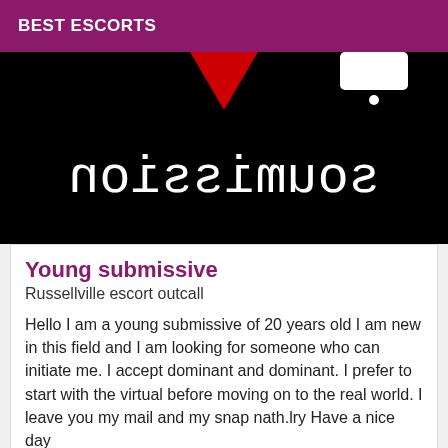BEST ESCORTS
[Figure (photo): Black background image with white mirrored/reversed text reading 'soumission' in typewriter font, with a red triangle shape at the top center and a white tag/label shape at the top right.]
Young submissive
Russellville escort outcall
Hello I am a young submissive of 20 years old I am new in this field and I am looking for someone who can initiate me. I accept dominant and dominant. I prefer to start with the virtual before moving on to the real world. I leave you my mail and my snap nath.lry Have a nice day